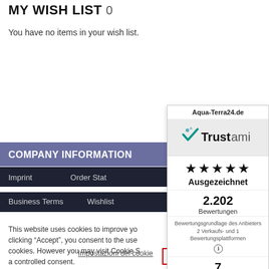MY WISH LIST 0
You have no items in your wish list.
COMPANY INFORMATION
Imprint
Order Stat...
Business Terms
Wishlist
This website uses cookies to improve yo... clicking “Accept”, you consent to the use... cookies. However you may visit Cookie S... a controlled consent.
Impostazioni dei cookie
ACCEPT
[Figure (screenshot): Trustami widget showing Aqua-Terra24.de rating: 5 stars, Ausgezeichnet, 2.202 Bewertungen, 7 Jahre Erfahrung]